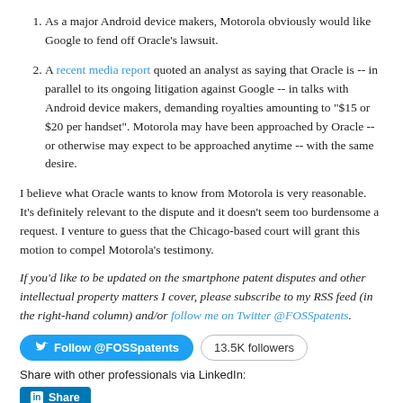As a major Android device makers, Motorola obviously would like Google to fend off Oracle's lawsuit.
A recent media report quoted an analyst as saying that Oracle is -- in parallel to its ongoing litigation against Google -- in talks with Android device makers, demanding royalties amounting to "$15 or $20 per handset". Motorola may have been approached by Oracle -- or otherwise may expect to be approached anytime -- with the same desire.
I believe what Oracle wants to know from Motorola is very reasonable. It's definitely relevant to the dispute and it doesn't seem too burdensome a request. I venture to guess that the Chicago-based court will grant this motion to compel Motorola's testimony.
If you'd like to be updated on the smartphone patent disputes and other intellectual property matters I cover, please subscribe to my RSS feed (in the right-hand column) and/or follow me on Twitter @FOSSpatents.
[Figure (other): Twitter Follow @FOSSpatents button with 13.5K followers badge]
Share with other professionals via LinkedIn:
[Figure (other): LinkedIn Share button]